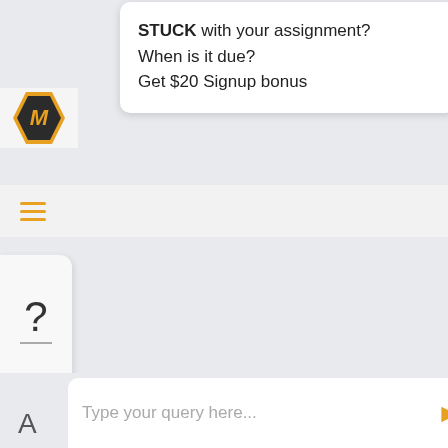[Figure (screenshot): Mobile app interface screenshot showing a tutoring/homework help chat application. Features a hexagonal M logo in orange/black, a popup bubble with promotional text, hamburger menu in orange, a help card with question mark, chat interface elements, and a text input bar.]
STUCK with your assignment?
When is it due?
Get $20 Signup bonus
Type your query here...